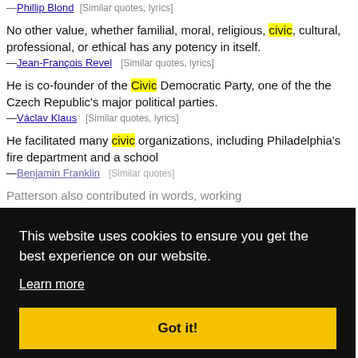—Phillip Blond  [Similar quotes, lyrics]
No other value, whether familial, moral, religious, civic, cultural, professional, or ethical has any potency in itself.
—Jean-François Revel  [Similar quotes, lyrics]
He is co-founder of the Civic Democratic Party, one of the the Czech Republic's major political parties.
—Václav Klaus  [Similar quotes, lyrics]
He facilitated many civic organizations, including Philadelphia's fire department and a school
—Benjamin Franklin   [Similar quotes]
Patterson also contributed in words, working ... to the global
... and ... conform ... the dominant ... philosophy of ... religion.
—Waldo Schwantes  [Similar quotes]
Being an American involves the embrace of high
This website uses cookies to ensure you get the best experience on our website.
Learn more
Got it!